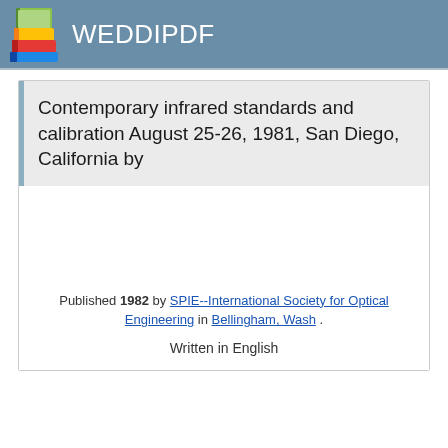WEDDIPDF
Contemporary infrared standards and calibration August 25-26, 1981, San Diego, California by
Published 1982 by SPIE--International Society for Optical Engineering in Bellingham, Wash .
Written in English